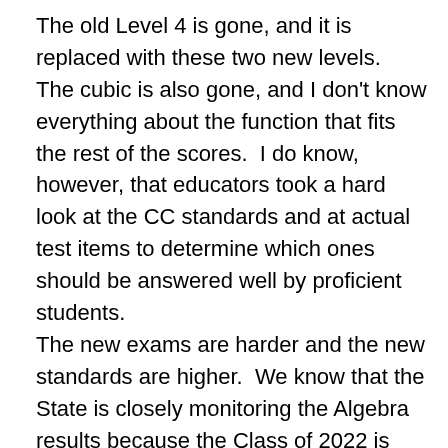The old Level 4 is gone, and it is replaced with these two new levels.  The cubic is also gone, and I don't know everything about the function that fits the rest of the scores.  I do know, however, that educators took a hard look at the CC standards and at actual test items to determine which ones should be answered well by proficient students.
The new exams are harder and the new standards are higher.  We know that the State is closely monitoring the Algebra results because the Class of 2022 is coming soon, and they will need to pass at Level 4.
Teachers should be looking at the number of points necessary to hit those cut scores and not at what percent corresponded to what score.  The only four scores that really matter are the ones that set Level 2,3,4,5.  The fact that a student got an 88 doesn't mean he knew 88 percent